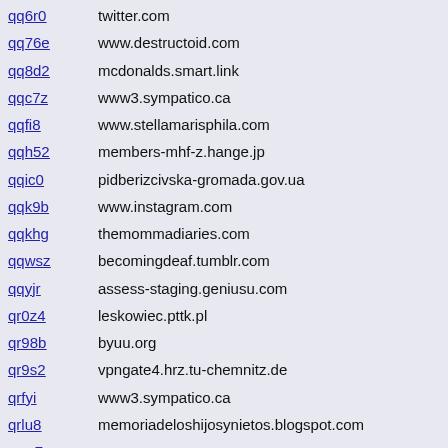qq6r0   twitter.com
qq76e   www.destructoid.com
qq8d2   mcdonalds.smart.link
qqc7z   www3.sympatico.ca
qqfi8   www.stellamarisphila.com
qqh52   members-mhf-z.hange.jp
qqic0   pidberizcivska-gromada.gov.ua
qqk9b   www.instagram.com
qqkhg   themommadiaries.com
qqwsz   becomingdeaf.tumblr.com
qqyjr   assess-staging.geniusu.com
qr0z4   leskowiec.pttk.pl
qr98b   byuu.org
qr9s2   vpngate4.hrz.tu-chemnitz.de
qrfyi   www3.sympatico.ca
qrlu8   memoriadeloshijosynietos.blogspot.com
qrpr7   www.everymac.com
qrpsc   cjt.io